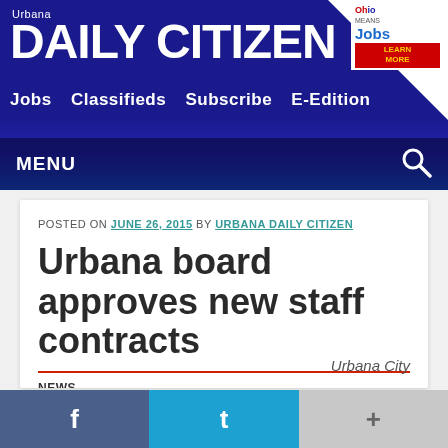Urbana DAILY CITIZEN — Jobs  Classifieds  Subscribe  E-Edition  MENU
POSTED ON JUNE 26, 2015 BY URBANA DAILY CITIZEN
Urbana board approves new staff contracts
NEWS
Urbana City
f  t  +